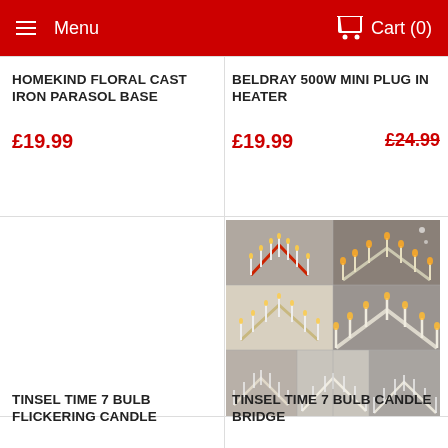Menu   Cart (0)
HOMEKIND FLORAL CAST IRON PARASOL BASE
£19.99
BELDRAY 500W MINI PLUG IN HEATER
£19.99  £24.99
[Figure (photo): Collage of candle bridge lights showing multiple styles with white candles on wooden arch frames]
TINSEL TIME 7 BULB FLICKERING CANDLE
TINSEL TIME 7 BULB CANDLE BRIDGE